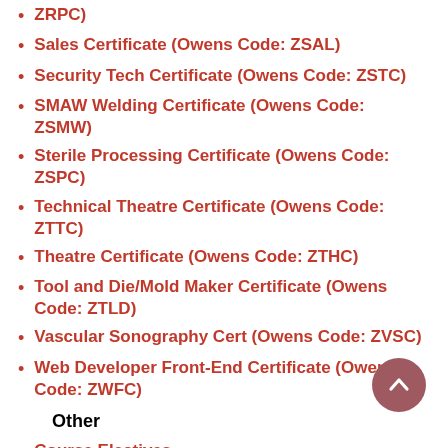ZRPC)
Sales Certificate (Owens Code: ZSAL)
Security Tech Certificate (Owens Code: ZSTC)
SMAW Welding Certificate (Owens Code: ZSMW)
Sterile Processing Certificate (Owens Code: ZSPC)
Technical Theatre Certificate (Owens Code: ZTTC)
Theatre Certificate (Owens Code: ZTHC)
Tool and Die/Mold Maker Certificate (Owens Code: ZTLD)
Vascular Sonography Cert (Owens Code: ZVSC)
Web Developer Front-End Certificate (Owens Code: ZWFC)
Other
Course Electives